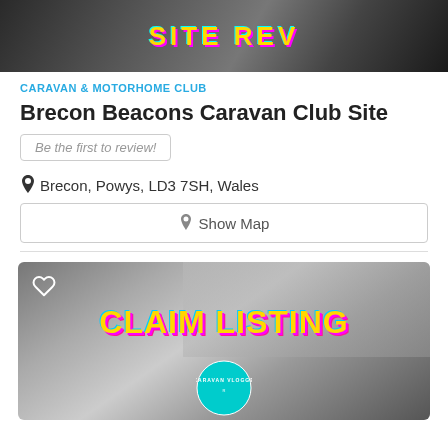[Figure (photo): Black and white photo with colorful text overlay at top of page, partially cropped]
CARAVAN & MOTORHOME CLUB
Brecon Beacons Caravan Club Site
Be the first to review!
Brecon, Powys, LD3 7SH, Wales
Show Map
[Figure (photo): Black and white photo with colorful 'CLAIM LISTING' text overlay and Caravan Vlogger badge at bottom]